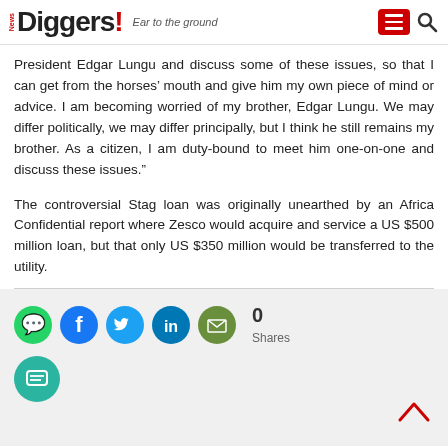News Diggers! Ear to the ground
President Edgar Lungu and discuss some of these issues, so that I can get from the horses’ mouth and give him my own piece of mind or advice. I am becoming worried of my brother, Edgar Lungu. We may differ politically, we may differ principally, but I think he still remains my brother. As a citizen, I am duty-bound to meet him one-on-one and discuss these issues.”
The controversial Stag loan was originally unearthed by an Africa Confidential report where Zesco would acquire and service a US $500 million loan, but that only US $350 million would be transferred to the utility.
[Figure (infographic): Social sharing icons row: WhatsApp (green), Facebook (blue), Twitter (light blue), LinkedIn (dark blue), Email (dark green). Share count showing 0 Shares.]